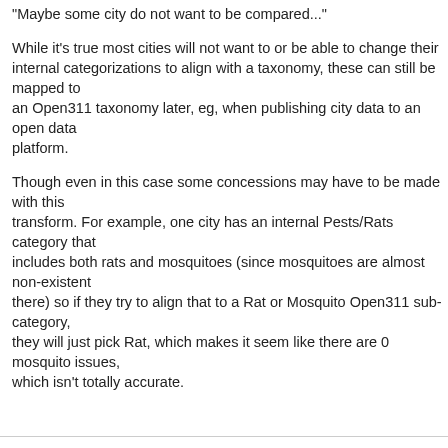"Maybe some city do not want to be compared..."
While it's true most cities will not want to or be able to change their internal categorizations to align with a taxonomy, these can still be mapped to an Open311 taxonomy later, eg, when publishing city data to an open data platform.
Though even in this case some concessions may have to be made with this transform. For example, one city has an internal Pests/Rats category that includes both rats and mosquitoes (since mosquitoes are almost non-existent there) so if they try to align that to a Rat or Mosquito Open311 sub-category, they will just pick Rat, which makes it seem like there are 0 mosquito issues, which isn't totally accurate.